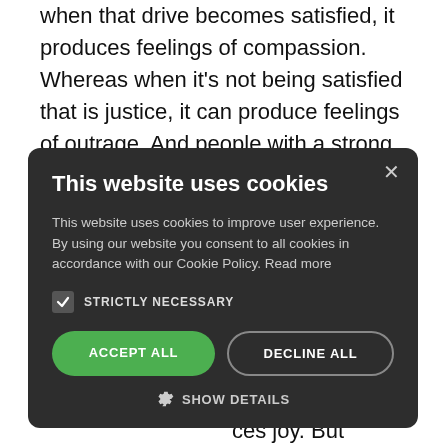when that drive becomes satisfied, it produces feelings of compassion. Whereas when it's not being satisfied that is justice, it can produce feelings of outrage. And people with a strong drive for justice may care deeply about such social causes as world …eople with a …nts in their …ng society. …motivates …value their …ces joy. But …ally …nt. People …be quite …t motivation …their needs.
[Figure (screenshot): Cookie consent modal dialog with dark background. Title: 'This website uses cookies'. Body text about cookie policy. Checkbox for 'STRICTLY NECESSARY'. Buttons: 'ACCEPT ALL' (green) and 'DECLINE ALL' (outline). 'SHOW DETAILS' link with gear icon. Close X button in top right.]